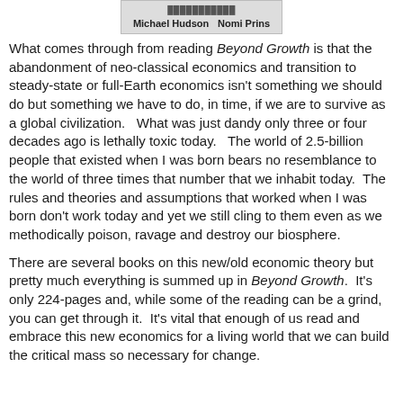[Figure (illustration): Partial book cover image showing author names Michael Hudson and Nomi Prins]
What comes through from reading Beyond Growth is that the abandonment of neo-classical economics and transition to steady-state or full-Earth economics isn't something we should do but something we have to do, in time, if we are to survive as a global civilization.   What was just dandy only three or four decades ago is lethally toxic today.   The world of 2.5-billion people that existed when I was born bears no resemblance to the world of three times that number that we inhabit today.  The rules and theories and assumptions that worked when I was born don't work today and yet we still cling to them even as we methodically poison, ravage and destroy our biosphere.
There are several books on this new/old economic theory but pretty much everything is summed up in Beyond Growth.  It's only 224-pages and, while some of the reading can be a grind, you can get through it.  It's vital that enough of us read and embrace this new economics for a living world that we can build the critical mass so necessary for change.